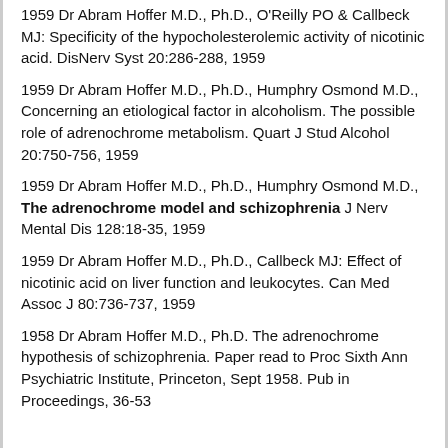1959 Dr Abram Hoffer M.D., Ph.D., O'Reilly PO & Callbeck MJ: Specificity of the hypocholesterolemic activity of nicotinic acid. DisNerv Syst 20:286-288, 1959
1959 Dr Abram Hoffer M.D., Ph.D., Humphry Osmond M.D., Concerning an etiological factor in alcoholism. The possible role of adrenochrome metabolism. Quart J Stud Alcohol 20:750-756, 1959
1959 Dr Abram Hoffer M.D., Ph.D., Humphry Osmond M.D., The adrenochrome model and schizophrenia J Nerv Mental Dis 128:18-35, 1959
1959 Dr Abram Hoffer M.D., Ph.D., Callbeck MJ: Effect of nicotinic acid on liver function and leukocytes. Can Med Assoc J 80:736-737, 1959
1958 Dr Abram Hoffer M.D., Ph.D. The adrenochrome hypothesis of schizophrenia. Paper read to Proc Sixth Ann Psychiatric Institute, Princeton, Sept 1958. Pub in Proceedings, 36-53